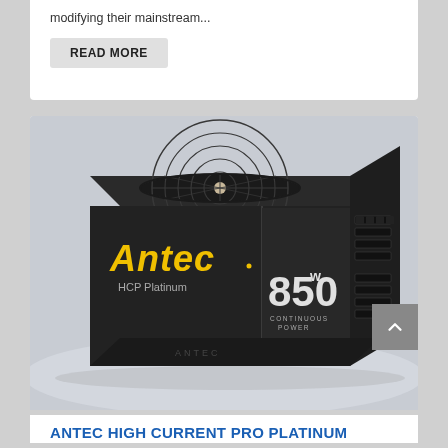modifying their mainstream...
READ MORE
[Figure (photo): Antec HCP Platinum 850W continuous power supply unit (PSU) — a black rectangular power supply with a large circular fan on top, yellow Antec logo on the front, labeled HCP Platinum and 850W Continuous Power, with modular cable connectors on the right side.]
ANTEC HIGH CURRENT PRO PLATINUM